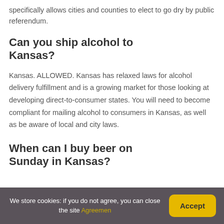specifically allows cities and counties to elect to go dry by public referendum.
Can you ship alcohol to Kansas?
Kansas. ALLOWED. Kansas has relaxed laws for alcohol delivery fulfillment and is a growing market for those looking at developing direct-to-consumer states. You will need to become compliant for mailing alcohol to consumers in Kansas, as well as be aware of local and city laws.
When can I buy beer on Sunday in Kansas?
We store cookies: if you do not agree, you can close the site Agreemen